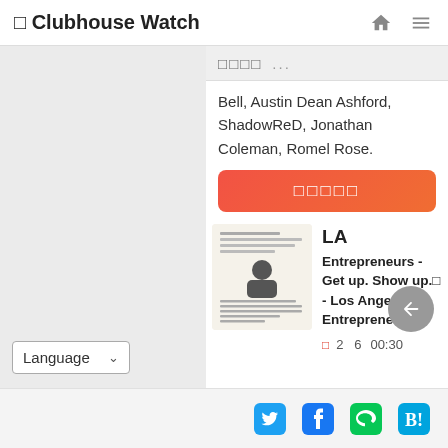🏠 Clubhouse Watch
□□□□ ...
Bell, Austin Dean Ashford, ShadowReD, Jonathan Coleman, Romel Rose.
□□□□□ (join button)
[Figure (photo): LA Entrepreneurs club card image with text about LA Entrepreneurs - Get up show up event]
LA
Entrepreneurs - Get up. Show up.□ - Los Angeles Entrepreneurs
□2  6  00:30
Language (dropdown)
Twitter, Facebook, Line, Hatena social share icons